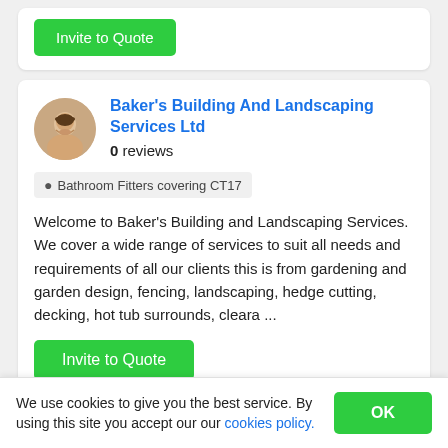[Figure (other): Partial view of a card with a green 'Invite to Quote' button visible at the top]
Baker's Building And Landscaping Services Ltd
0 reviews
Bathroom Fitters covering CT17
Welcome to Baker's Building and Landscaping Services. We cover a wide range of services to suit all needs and requirements of all our clients this is from gardening and garden design, fencing, landscaping, hedge cutting, decking, hot tub surrounds, cleara ...
Invite to Quote
We use cookies to give you the best service. By using this site you accept our our cookies policy.